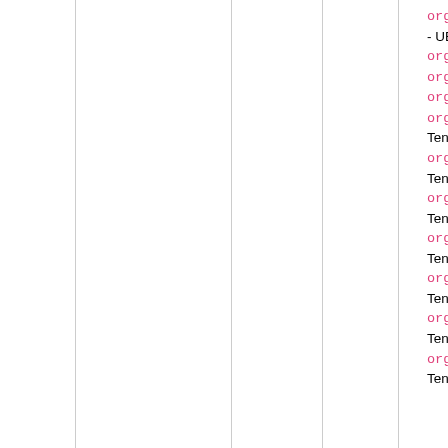org.oasi - UBL Sto
org.oasi
org.oasi
org.oasi
org.oasi TenderCo
org.oasi TenderCo
org.oasi TenderRe
org.oasi TenderRe
org.oasi TenderRe
org.oasi TenderSt
org.oasi TenderSt